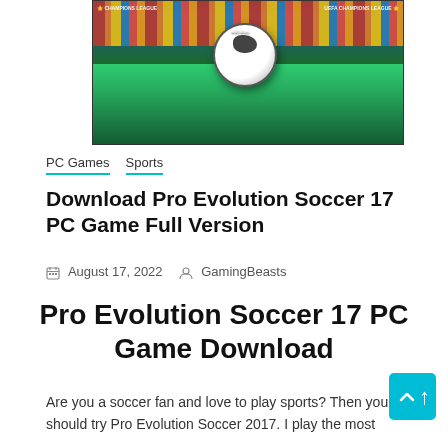[Figure (photo): Soccer ball on green grass field with stadium crowd in the background, UEFA Champions League branding, Adidas ball]
PC Games   Sports
Download Pro Evolution Soccer 17 PC Game Full Version
August 17, 2022   GamingBeasts
Pro Evolution Soccer 17 PC Game Download
Are you a soccer fan and love to play sports? Then you should try Pro Evolution Soccer 2017. I play the most